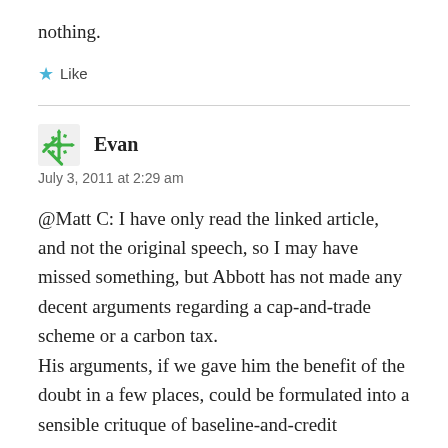nothing.
★ Like
Evan
July 3, 2011 at 2:29 am
@Matt C: I have only read the linked article, and not the original speech, so I may have missed something, but Abbott has not made any decent arguments regarding a cap-and-trade scheme or a carbon tax.
His arguments, if we gave him the benefit of the doubt in a few places, could be formulated into a sensible crituque of baseline-and-credit